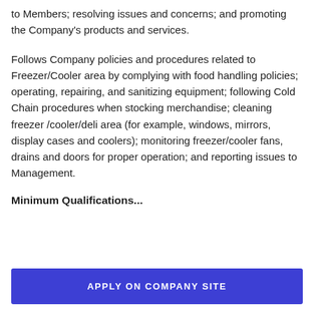to Members; resolving issues and concerns; and promoting the Company's products and services.
Follows Company policies and procedures related to Freezer/Cooler area by complying with food handling policies; operating, repairing, and sanitizing equipment; following Cold Chain procedures when stocking merchandise; cleaning freezer /cooler/deli area (for example, windows, mirrors, display cases and coolers); monitoring freezer/cooler fans, drains and doors for proper operation; and reporting issues to Management.
Minimum Qualifications...
APPLY ON COMPANY SITE